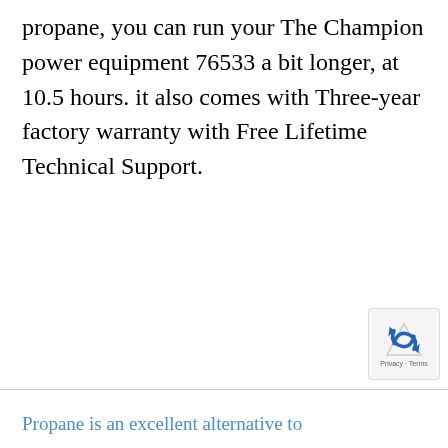propane, you can run your The Champion power equipment 76533 a bit longer, at 10.5 hours. it also comes with Three-year factory warranty with Free Lifetime Technical Support.
Propane is an excellent alternative to